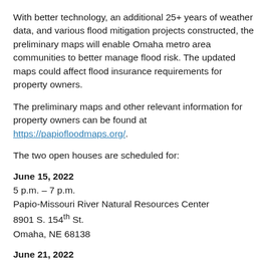With better technology, an additional 25+ years of weather data, and various flood mitigation projects constructed, the preliminary maps will enable Omaha metro area communities to better manage flood risk. The updated maps could affect flood insurance requirements for property owners.
The preliminary maps and other relevant information for property owners can be found at https://papiofloodmaps.org/.
The two open houses are scheduled for:
June 15, 2022
5 p.m. – 7 p.m.
Papio-Missouri River Natural Resources Center
8901 S. 154th St.
Omaha, NE 68138
June 21, 2022